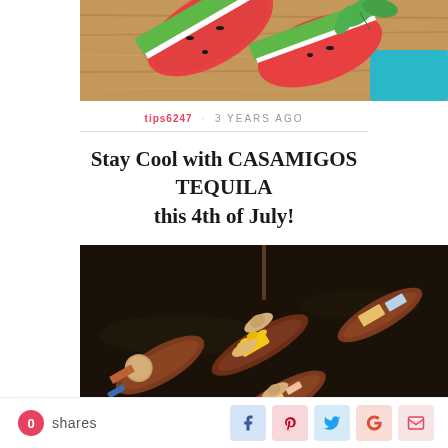[Figure (photo): Top portion of a photo showing sliced watermelon with mint leaves on a wooden cutting board with a turquoise bowl]
tips6247 · 3 YEARS AGO
Stay Cool with CASAMIGOS TEQUILA this 4th of July!
[Figure (photo): Aerial view of traditional wooden boats on dark water at a floating market, with vendors in straw hats selling colorful produce]
0 shares [social share buttons: Facebook, Pinterest, Twitter, Google+, Email]